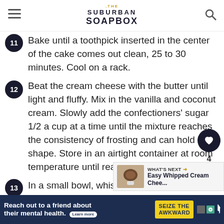THE SUBURBAN SOAPBOX
11 Bake until a toothpick inserted in the center of the cake comes out clean, 25 to 30 minutes. Cool on a rack.
12 Beat the cream cheese with the butter until light and fluffy. Mix in the vanilla and coconut cream. Slowly add the confectioners' sugar 1/2 a cup at a time until the mixture reaches the consistency of frosting and can hold it's shape. Store in an airtight container at room temperature until ready t
13 In a small bowl, whisk together the milk
[Figure (screenshot): WHAT'S NEXT arrow with Easy Whipped Cream Chee... thumbnail]
Reach out to a friend about their mental health. Learn more | SEIZE THE AWKWARD